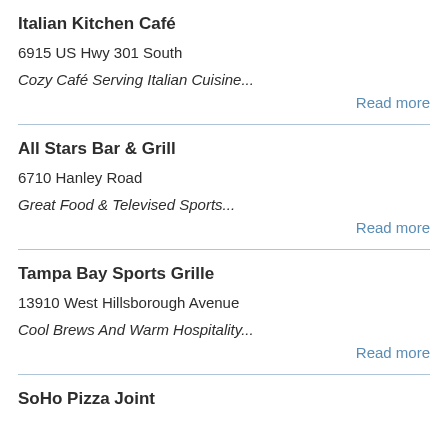Italian Kitchen Café
6915 US Hwy 301 South
Cozy Café Serving Italian Cuisine...
Read more
All Stars Bar & Grill
6710 Hanley Road
Great Food & Televised Sports...
Read more
Tampa Bay Sports Grille
13910 West Hillsborough Avenue
Cool Brews And Warm Hospitality...
Read more
SoHo Pizza Joint